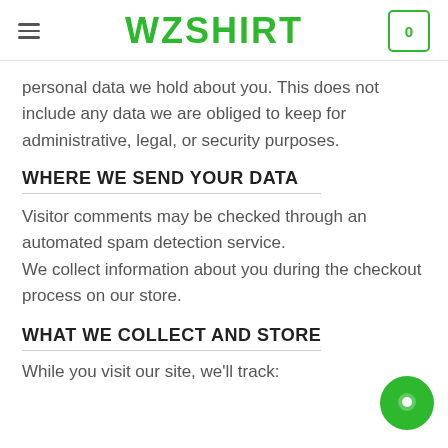WZSHIRT
personal data we hold about you. This does not include any data we are obliged to keep for administrative, legal, or security purposes.
WHERE WE SEND YOUR DATA
Visitor comments may be checked through an automated spam detection service.
We collect information about you during the checkout process on our store.
WHAT WE COLLECT AND STORE
While you visit our site, we'll track: